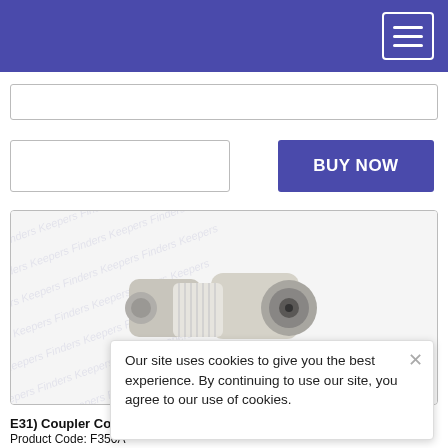[Figure (screenshot): Search bar input field (partially visible)]
[Figure (screenshot): Quantity input field (empty white box)]
[Figure (screenshot): BUY NOW button in purple/indigo color]
[Figure (photo): Coaxial coupler product photo — a white plastic coax female-to-female barrel coupler with metal ends, shown on a watermark background.]
E31) Coupler Coax so
Product Code: F350A
Our site uses cookies to give you the best experience. By continuing to use our site, you agree to our use of cookies.